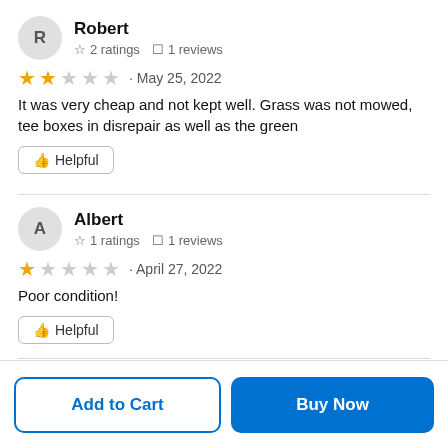Robert — 2 ratings, 1 reviews
★★☆☆☆ · May 25, 2022 — It was very cheap and not kept well. Grass was not mowed, tee boxes in disrepair as well as the green
Helpful
Albert — 1 ratings, 1 reviews
★☆☆☆☆ · April 27, 2022 — Poor condition!
Helpful
Add to Cart
Buy Now